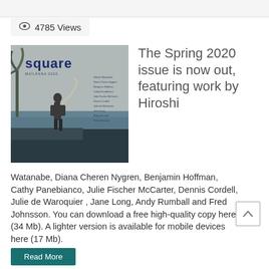4785 Views
[Figure (photo): Cover of Square magazine Spring 2020 issue, showing a person near the ocean with 'square' text in dark blue]
The Spring 2020 issue is now out, featuring work by Hiroshi
Watanabe, Diana Cheren Nygren, Benjamin Hoffman, Cathy Panebianco, Julie Fischer McCarter, Dennis Cordell, Julie de Waroquier , Jane Long, Andy Rumball and Fred Johnsson. You can download a free high-quality copy here (34 Mb). A lighter version is available for mobile devices here (17 Mb).
Read More